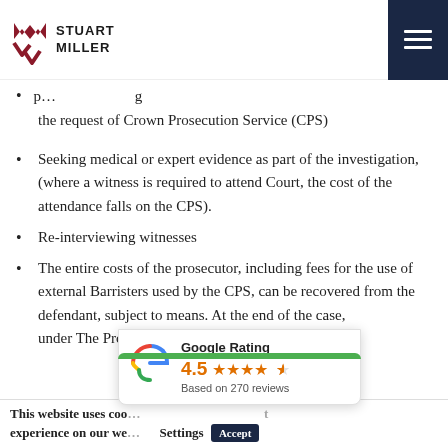Stuart Miller — navigation header
the request of Crown Prosecution Service (CPS)
Seeking medical or expert evidence as part of the investigation, (where a witness is required to attend Court, the cost of the attendance falls on the CPS).
Re-interviewing witnesses
The entire costs of the prosecutor, including fees for the use of external Barristers used by the CPS, can be recovered from the defendant, subject to means. At the end of the case, under The Prosecution of Offences Act...
[Figure (infographic): Google Rating popup showing 4.5 stars based on 270 reviews]
This website uses cookies to ensure you get the best experience on our website. Settings Accept